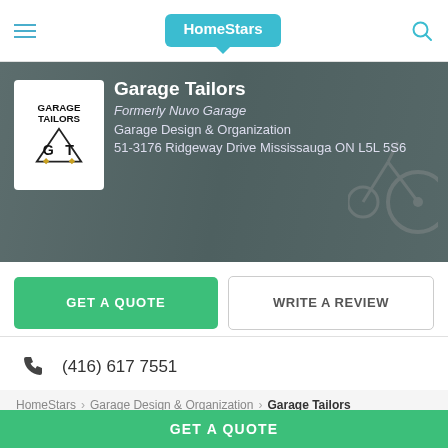HomeStars
[Figure (screenshot): Garage Tailors business banner with logo showing GT initials, text: Garage Tailors, Formerly Nuvo Garage, Garage Design & Organization, 51-3176 Ridgeway Drive Mississauga ON L5L 5S6. Background shows a garage interior.]
GET A QUOTE
WRITE A REVIEW
(416) 617 7551
Website
HomeStars > Garage Design & Organization > Garage Tailors
GET A QUOTE